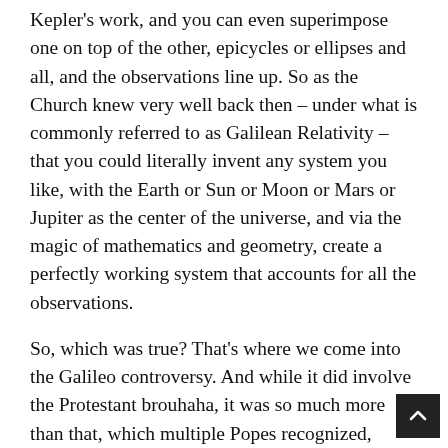Kepler's work, and you can even superimpose one on top of the other, epicycles or ellipses and all, and the observations line up. So as the Church knew very well back then – under what is commonly referred to as Galilean Relativity – that you could literally invent any system you like, with the Earth or Sun or Moon or Mars or Jupiter as the center of the universe, and via the magic of mathematics and geometry, create a perfectly working system that accounts for all the observations.
So, which was true? That's where we come into the Galileo controversy. And while it did involve the Protestant brouhaha, it was so much more than that, which multiple Popes recognized, including the esteemed St. Cardinal Robert Bellarmine, whose task it was to take the Protestant arguments out back and have them shot.
Bellarmine did not make the argument dependent on scientific merits, which nobody at his time could prove, and for which he also knew philosophically that much of